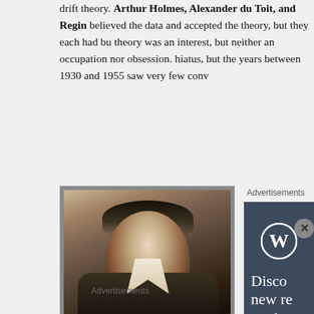drift theory. Arthur Holmes, Alexander du Toit, and Regin... believed the data and accepted the theory, but they each had bu... theory was an interest, but neither an occupation nor obsession.... hiatus, but the years between 1930 and 1955 saw very few conv...
[Figure (photo): Black and white portrait photograph of a young man in a suit with collar and tie, hair combed back, looking to the left.]
Advertisements
[Figure (screenshot): WordPress advertisement banner with dark blue-grey background showing WordPress logo (W in circle), text 'Disco... new re... on the...' and 'GET THE A' button at bottom.]
Advertisements